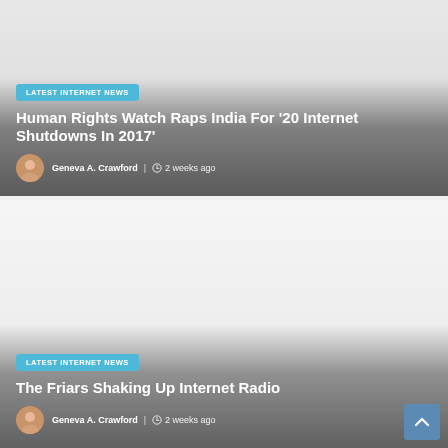[Figure (photo): News card with dark gradient overlay showing article about Human Rights Watch and India internet shutdowns]
LATEST INTERNET NEWS
Human Rights Watch Raps India For '20 Internet Shutdowns In 2017'
Geneva A. Crawford  2 weeks ago
[Figure (photo): News card with dark gradient overlay showing article about The Friars and Internet Radio]
LATEST INTERNET NEWS
The Friars Shaking Up Internet Radio
Geneva A. Crawford  2 weeks ago